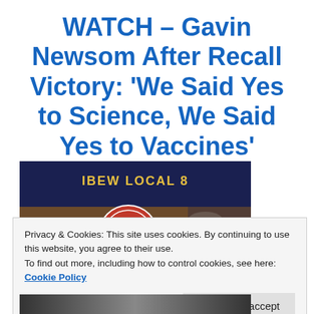WATCH – Gavin Newsom After Recall Victory: 'We Said Yes to Science, We Said Yes to Vaccines'
[Figure (photo): Gavin Newsom smiling in front of a dark blue IBEW Local 8 union banner with a circular logo]
Privacy & Cookies: This site uses cookies. By continuing to use this website, you agree to their use.
To find out more, including how to control cookies, see here: Cookie Policy
[Figure (photo): Bottom portion of another photo partially visible]